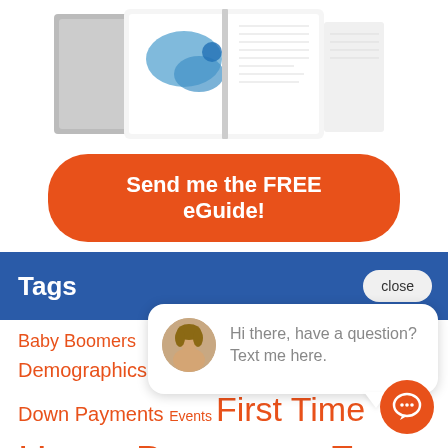[Figure (photo): Open booklet/eGuide showing a US map with blue heat-map highlights and text columns, partially overlapping a grey textured background]
Send me the FREE eGuide!
Tags
close
[Figure (photo): Chat popup with avatar of a woman and text: Hi there, have a question? Text me here.]
Baby Boomers
Demographics Distressed Properties
Down Payments Events First Time
Home Buyers For